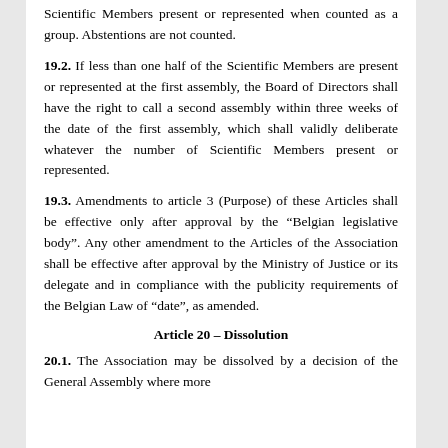Scientific Members present or represented when counted as a group. Abstentions are not counted.
19.2. If less than one half of the Scientific Members are present or represented at the first assembly, the Board of Directors shall have the right to call a second assembly within three weeks of the date of the first assembly, which shall validly deliberate whatever the number of Scientific Members present or represented.
19.3. Amendments to article 3 (Purpose) of these Articles shall be effective only after approval by the “Belgian legislative body”. Any other amendment to the Articles of the Association shall be effective after approval by the Ministry of Justice or its delegate and in compliance with the publicity requirements of the Belgian Law of “date”, as amended.
Article 20 – Dissolution
20.1. The Association may be dissolved by a decision of the General Assembly where more